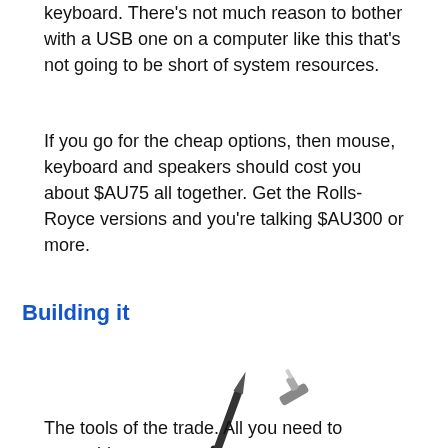keyboard. There's not much reason to bother with a USB one on a computer like this that's not going to be short of system resources.
If you go for the cheap options, then mouse, keyboard and speakers should cost you about $AU75 all together. Get the Rolls-Royce versions and you're talking $AU300 or more.
Building it
[Figure (photo): A T-handle screwdriver with red and black grip, and a separate bit/adapter piece shown nearby]
The tools of the trade. All you need to assemble a